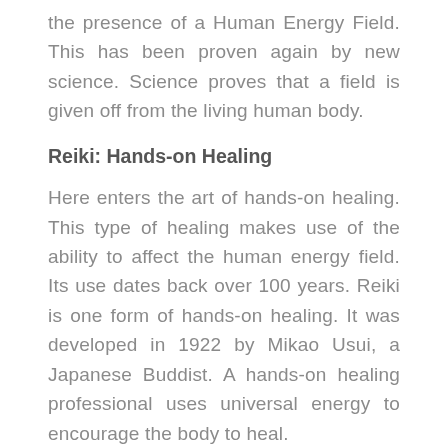the presence of a Human Energy Field. This has been proven again by new science. Science proves that a field is given off from the living human body.
Reiki: Hands-on Healing
Here enters the art of hands-on healing. This type of healing makes use of the ability to affect the human energy field. Its use dates back over 100 years. Reiki is one form of hands-on healing. It was developed in 1922 by Mikao Usui, a Japanese Buddist. A hands-on healing professional uses universal energy to encourage the body to heal.
In the last twenty years, energy healing has become more popular. This led to the acceptance of therapeutic touch by the North